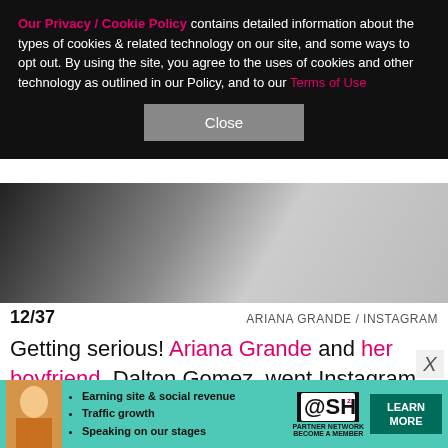Our Privacy / Cookie Policy contains detailed information about the types of cookies & related technology on our site, and some ways to opt out. By using the site, you agree to the uses of cookies and other technology as outlined in our Policy, and to our Terms of Use
Close
[Figure (photo): Partial photo of a person in a white garment, dark background on the left side]
12/37   ARIANA GRANDE / INSTAGRAM
Getting serious! Ariana Grande and her boyfriend, Dalton Gomez, went Instagram official on June 25 — the day before her 27th birthday. "almost 27," she captioned a slideshow of photos including a selfie that showed her snuggled up next to the high-end real estate agent. Two days later, she shared a shot of the
[Figure (infographic): SHE Partner Network advertisement banner with bullets: Earning site & social revenue, Traffic growth, Speaking on our stages. Logo and LEARN MORE button.]